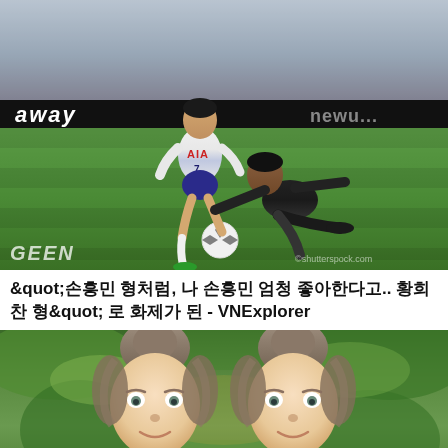[Figure (photo): Soccer match photo showing a player in white Tottenham Hotspur AIA jersey with number 7 competing against a player in dark jersey on a football pitch, with crowd in background and 'away' advertising board visible]
&amp;quot;손흥민 형처럼, 나 손흥민 엄청 좋아한다고.. 황희찬 형&amp;quot; 로 화제가 된 - VNExplorer
[Figure (photo): Photo of two young twin girls with similar appearance, both with hair in buns, smiling, with green foliage in the background]